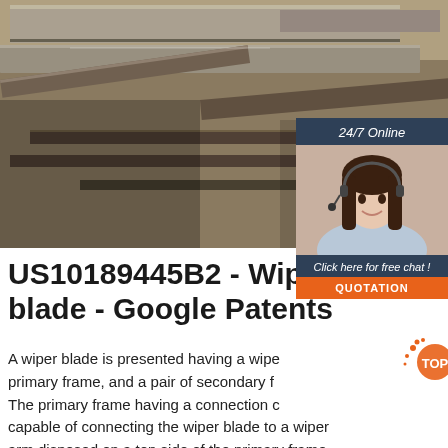[Figure (photo): Close-up photograph of metal steel rails or tracks with overlapping flat steel plates, industrial setting]
[Figure (infographic): Customer support chat widget showing a woman with headset, '24/7 Online' header, 'Click here for free chat!' text, and orange QUOTATION button. Also shows a TOP badge watermark.]
US10189445B2 - Wiper blade - Google Patents
A wiper blade is presented having a wiper blade, primary frame, and a pair of secondary frames. The primary frame having a connection capable of connecting the wiper blade to a wiper arm disposed on a top side of the primary frame, and a connection structure disposed, on opposite ends of the primary frame. The pair of secondary frame, each have a central pivot connection